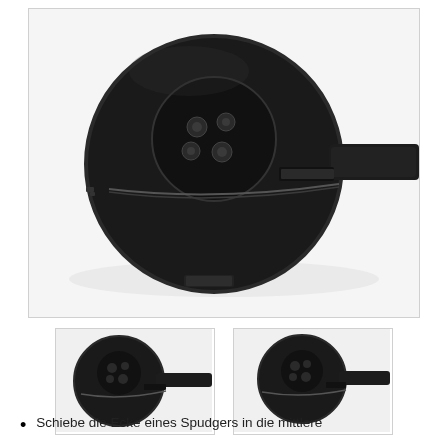[Figure (photo): Close-up photograph of the back of a round smartwatch showing sensor array and a spudger tool inserted at the edge between the case layers, against a white background.]
[Figure (photo): Thumbnail photo 1: smaller view of the smartwatch back with spudger inserted at edge, similar angle.]
[Figure (photo): Thumbnail photo 2: slightly different angle of smartwatch back with spudger at edge.]
Schiebe die Ecke eines Spudgers in die mittlere